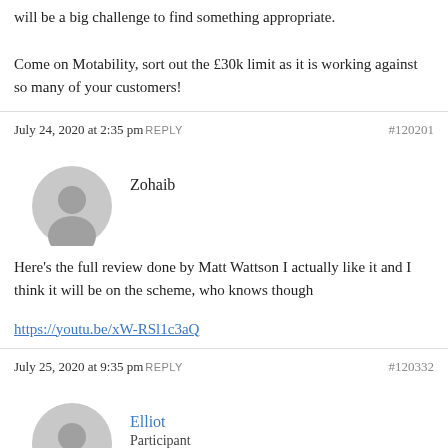will be a big challenge to find something appropriate.

Come on Motability, sort out the £30k limit as it is working against so many of your customers!
July 24, 2020 at 2:35 pm REPLY #120201
Zohaib
Here's the full review done by Matt Wattson I actually like it and I think it will be on the scheme, who knows though
https://youtu.be/xW-RSl1c3aQ
July 25, 2020 at 9:35 pm REPLY #120332
Elliot
Participant